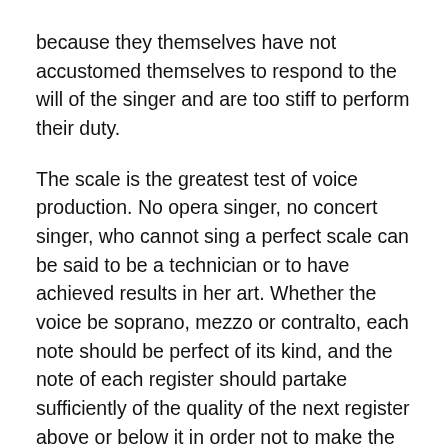because they themselves have not accustomed themselves to respond to the will of the singer and are too stiff to perform their duty.
The scale is the greatest test of voice production. No opera singer, no concert singer, who cannot sing a perfect scale can be said to be a technician or to have achieved results in her art. Whether the voice be soprano, mezzo or contralto, each note should be perfect of its kind, and the note of each register should partake sufficiently of the quality of the next register above or below it in order not to make the transition noticeable when the voice ascends or descends the scale. This blending of the registers is obtained by the intelligence of the singer in mixing the different tone qualities of the registers, using as aids the various formations of the lips, mouth and throat and the ever present